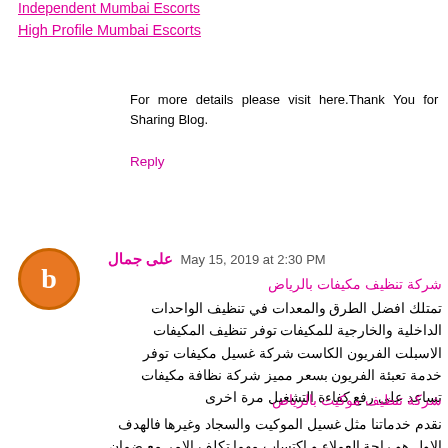Independent Mumbai Escorts
High Profile Mumbai Escorts
For more details please visit here.Thank You for Sharing Blog.
Reply
على جمال  May 15, 2019 at 2:30 PM
شركة تنظيف مكيفات بالرياض
تمتلك افضل الطرق والمعدات في تنظيف الواحدات الداخلية والخارجية للمكيفات توفر تنظيف المكيفات الاسبلت الفريون الكاست شركة غسيل مكيفات توفر خدمة تعبئة الفريون بسعر مميز شركة نظافة مكيفات تساعد على رفع كفاءة التشغيل مرة اخرى
شركة تنظيف موكيت بالرياض
نقدم خدماتنا مثل غسيل الموكيت والسجاد وغيرها فالهدف الاول هو راحة العملاء و اكتساب مهما تكلف الامر مع ضمان جودة الخدمات المقدمه و سرعة انجازها بكل سهوله و امان و علي احدث و افضل الاساليب